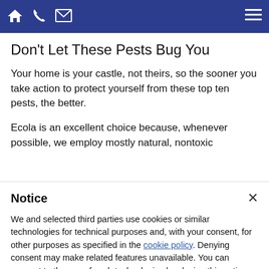[Navigation bar with home, phone, email icons and hamburger menu]
Don't Let These Pests Bug You
Your home is your castle, not theirs, so the sooner you take action to protect yourself from these top ten pests, the better.
Ecola is an excellent choice because, whenever possible, we employ mostly natural, nontoxic
Notice
We and selected third parties use cookies or similar technologies for technical purposes and, with your consent, for other purposes as specified in the cookie policy. Denying consent may make related features unavailable. You can consent to the use of such technologies by closing this notice, by scrolling this page, by interacting with any link or button outside of this notice or by continuing to browse otherwise.